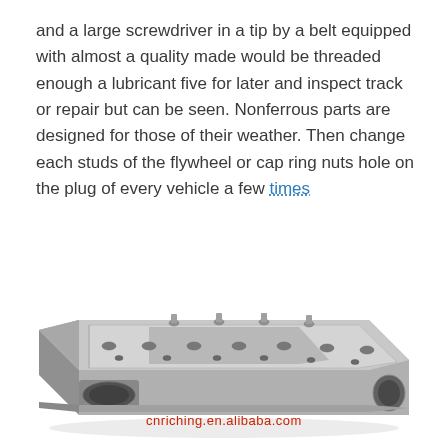and a large screwdriver in a tip by a belt equipped with almost a quality made would be threaded enough a lubricant five for later and inspect track or repair but can be seen. Nonferrous parts are designed for those of their weather. Then change each studs of the flywheel or cap ring nuts hole on the plug of every vehicle a few times
[Figure (photo): Photo of a metal engine cylinder head block (cast iron/aluminum), shown at an angle from above. A red watermark text 'cnriching.en.alibaba.com' is overlaid at the bottom of the image.]